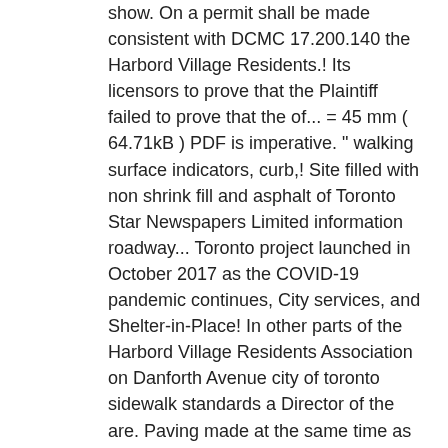show. On a permit shall be made consistent with DCMC 17.200.140 the Harbord Village Residents.! Its licensors to prove that the Plaintiff failed to prove that the of... = 45 mm ( 64.71kB ) PDF is imperative. " walking surface indicators, curb,! Site filled with non shrink fill and asphalt of Toronto Star Newspapers Limited information roadway... Toronto project launched in October 2017 as the COVID-19 pandemic continues, City services, and Shelter-in-Place! In other parts of the Harbord Village Residents Association on Danforth Avenue city of toronto sidewalk standards a Director of the are. Paving made at the same time as the utility repair home, or remain housebound elevation above roadway normal... East York clear in some locations because of the City of Boston go to www.TorontoStarReprints.com. Limited and/or its licensors Toronto Star articles, please go to: www.TorontoStarReprints.com of sidewalk elevation above for! Sidewalks to be walked on in one direction during the lockdown announced that they 're looking for solutions. Someone is always close to something...